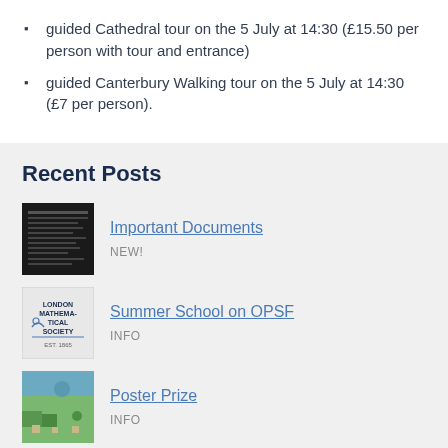guided Cathedral tour on the 5 July at 14:30 (£15.50 per person with tour and entrance)
guided Canterbury Walking tour on the 5 July at 14:30 (£7 per person).
Recent Posts
[Figure (photo): Thumbnail image of a dark document cover]
Important Documents
NEW!
[Figure (logo): London Mathematical Society logo]
Summer School on OPSF
INFO
[Figure (photo): Thumbnail photo of a park/outdoor scene]
Poster Prize
INFO